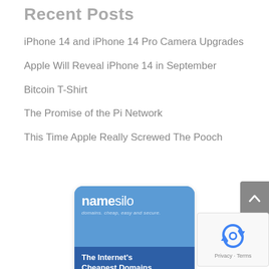Recent Posts
iPhone 14 and iPhone 14 Pro Camera Upgrades
Apple Will Reveal iPhone 14 in September
Bitcoin T-Shirt
The Promise of the Pi Network
This Time Apple Really Screwed The Pooch
[Figure (logo): NameSilo advertisement: domains cheap, easy and secure. The Internet's Cheapest Domains.]
[Figure (other): reCAPTCHA widget with Privacy and Terms links]